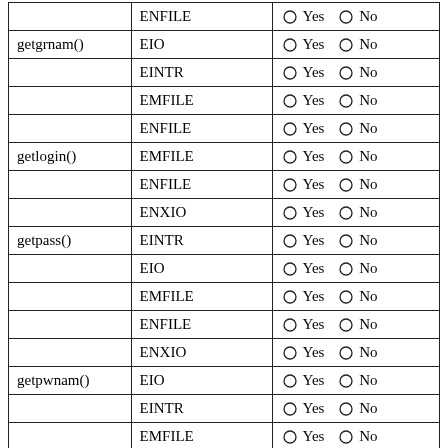| Function | Error | Recoverable? |
| --- | --- | --- |
|  | ENFILE | Yes / No |
| getgrnam() | EIO | Yes / No |
|  | EINTR | Yes / No |
|  | EMFILE | Yes / No |
|  | ENFILE | Yes / No |
| getlogin() | EMFILE | Yes / No |
|  | ENFILE | Yes / No |
|  | ENXIO | Yes / No |
| getpass() | EINTR | Yes / No |
|  | EIO | Yes / No |
|  | EMFILE | Yes / No |
|  | ENFILE | Yes / No |
|  | ENXIO | Yes / No |
| getpwnam() | EIO | Yes / No |
|  | EINTR | Yes / No |
|  | EMFILE | Yes / No |